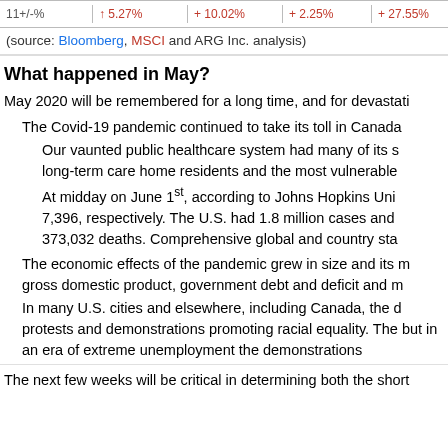|  |  |  |  |  |
| --- | --- | --- | --- | --- |
| 11+/-% | + 5.27% | + 10.02% | + 2.25% | + 27.55% |
(source: Bloomberg, MSCI and ARG Inc. analysis)
What happened in May?
May 2020 will be remembered for a long time, and for devastati
The Covid-19 pandemic continued to take its toll in Canada
Our vaunted public healthcare system had many of its s long-term care home residents and the most vulnerable
At midday on June 1st, according to Johns Hopkins Uni 7,396, respectively. The U.S. had 1.8 million cases and 373,032 deaths. Comprehensive global and country sta
The economic effects of the pandemic grew in size and its m gross domestic product, government debt and deficit and m
In many U.S. cities and elsewhere, including Canada, the d protests and demonstrations promoting racial equality. The but in an era of extreme unemployment the demonstrations
The next few weeks will be critical in determining both the short to critically determine will be the recovery from Covid-19. The